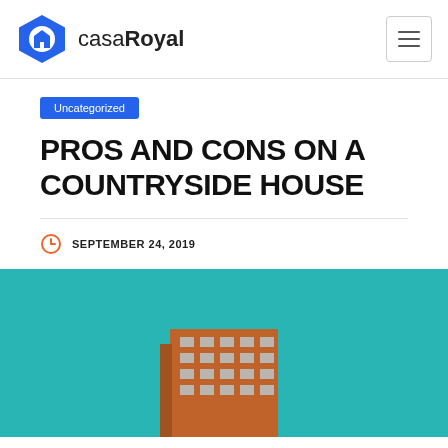casaRoyal
Uncategorized
PROS AND CONS ON A COUNTRYSIDE HOUSE
SEPTEMBER 24, 2019
[Figure (photo): Photo of a modern building corner with orange facade and teal/turquoise sky background]